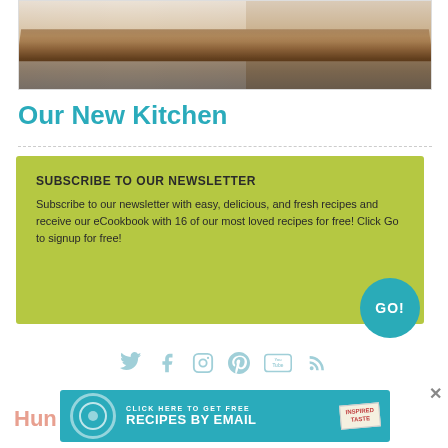[Figure (photo): Kitchen photo showing white cabinets and a walnut wood countertop with stainless steel appliances in the background]
Our New Kitchen
SUBSCRIBE TO OUR NEWSLETTER
Subscribe to our newsletter with easy, delicious, and fresh recipes and receive our eCookbook with 16 of our most loved recipes for free! Click Go to signup for free!
[Figure (infographic): Social media icons row: Twitter, Facebook, Instagram, Pinterest, YouTube, RSS]
[Figure (infographic): Banner: CLICK HERE TO GET FREE RECIPES BY EMAIL with Inspired Taste badge]